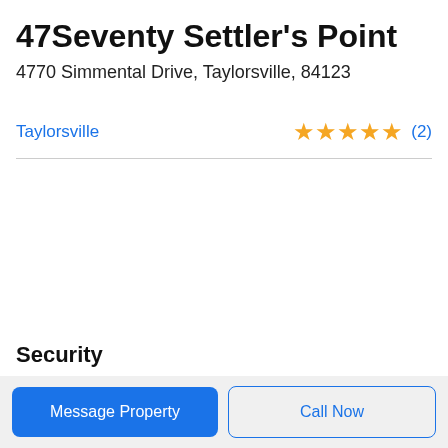47Seventy Settler's Point
4770 Simmental Drive, Taylorsville, 84123
Taylorsville ★★★★★ (2)
Security
Message Property | Call Now